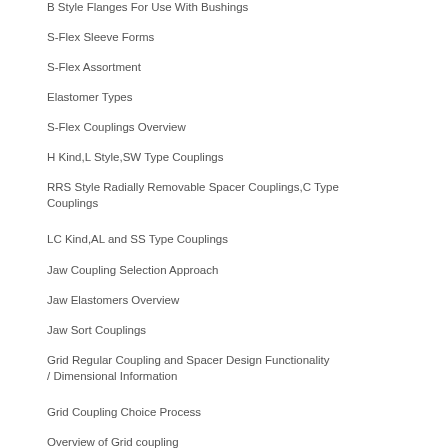B Style Flanges For Use With Bushings
S-Flex Sleeve Forms
S-Flex Assortment
Elastomer Types
S-Flex Couplings Overview
H Kind,L Style,SW Type Couplings
RRS Style Radially Removable Spacer Couplings,C Type Couplings
LC Kind,AL and SS Type Couplings
Jaw Coupling Selection Approach
Jaw Elastomers Overview
Jaw Sort Couplings
Grid Regular Coupling and Spacer Design Functionality / Dimensional Information
Grid Coupling Choice Process
Overview of Grid coupling